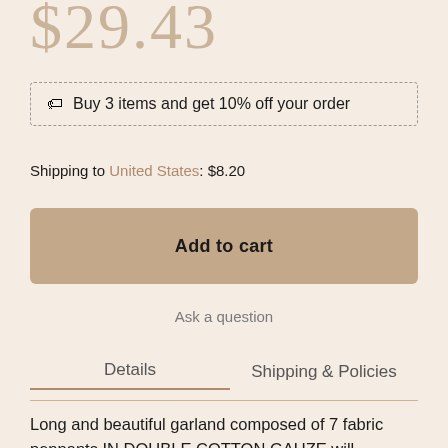$29.43
🏷 Buy 3 items and get 10% off your order
Shipping to United States: $8.20
Add to cart
Ask a question
Details
Shipping & Policies
Long and beautiful garland composed of 7 fabric pennants IN DOUBLE COTTON GAUZE will embellish the decoration of your baby's room!